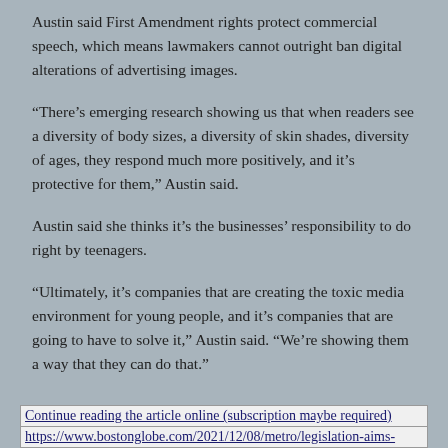Austin said First Amendment rights protect commercial speech, which means lawmakers cannot outright ban digital alterations of advertising images.
“There’s emerging research showing us that when readers see a diversity of body sizes, a diversity of skin shades, diversity of ages, they respond much more positively, and it’s protective for them,” Austin said.
Austin said she thinks it’s the businesses’ responsibility to do right by teenagers.
“Ultimately, it’s companies that are creating the toxic media environment for young people, and it’s companies that are going to have to solve it,” Austin said. “We’re showing them a way that they can do that.”
Continue reading the article online (subscription maybe required)
https://www.bostonglobe.com/2021/12/08/metro/legislation-aims-